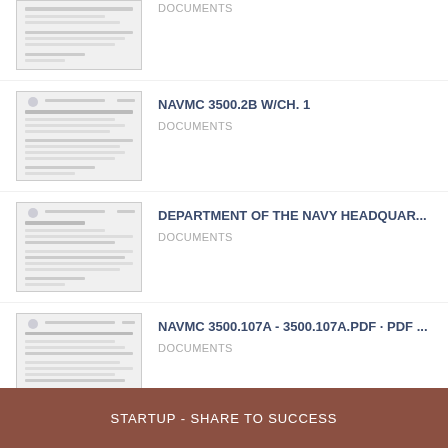[Figure (screenshot): Partial thumbnail of a document page]
DOCUMENTS
[Figure (screenshot): Thumbnail of NAVMC 3500.2B W/CH. 1 document]
NAVMC 3500.2B W/CH. 1
DOCUMENTS
[Figure (screenshot): Thumbnail of Department of the Navy Headquarters document]
DEPARTMENT OF THE NAVY HEADQUAR...
DOCUMENTS
[Figure (screenshot): Thumbnail of NAVMC 3500.107A document]
NAVMC 3500.107A - 3500.107A.PDF · PDF ...
DOCUMENTS
View More
STARTUP - SHARE TO SUCCESS